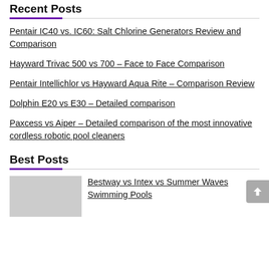Recent Posts
Pentair IC40 vs. IC60: Salt Chlorine Generators Review and Comparison
Hayward Trivac 500 vs 700 – Face to Face Comparison
Pentair Intellichlor vs Hayward Aqua Rite – Comparison Review
Dolphin E20 vs E30 – Detailed comparison
Paxcess vs Aiper – Detailed comparison of the most innovative cordless robotic pool cleaners
Best Posts
Bestway vs Intex vs Summer Waves Swimming Pools